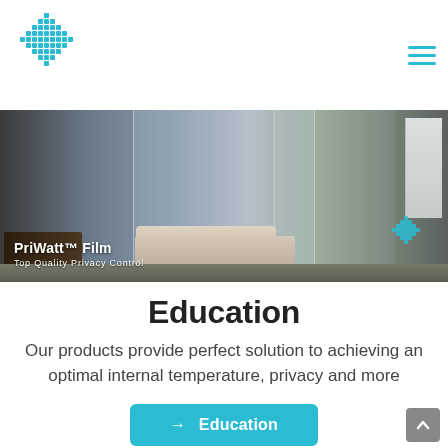[Figure (logo): Blue diamond/rhombus pixel-dot logo in top left]
[Figure (illustration): Hamburger menu icon (three horizontal cyan lines) in top right]
[Figure (photo): Hero image showing PriWatt glass film product applied to a glass partition in an interior space with furniture. Text overlay: 'PriWatt™ Film / Top Quality Privacy Control'. Blue diamond logo in bottom right of image.]
Education
Our products provide perfect solution to achieving an optimal internal temperature, privacy and more
[Figure (other): Cyan rounded button with arrow and text '→ Education']
[Figure (other): Grey scroll-to-top button with upward chevron arrow, bottom right corner]